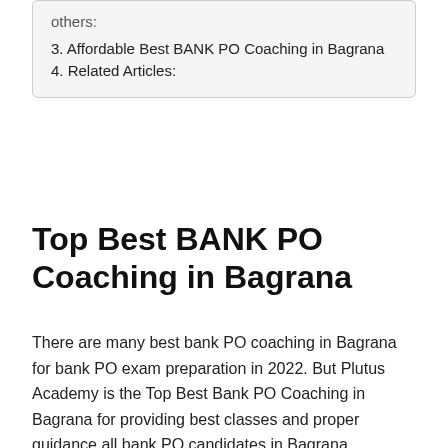others:
3. Affordable Best BANK PO Coaching in Bagrana
4. Related Articles:
Top Best BANK PO Coaching in Bagrana
There are many best bank PO coaching in Bagrana for bank PO exam preparation in 2022. But Plutus Academy is the Top Best Bank PO Coaching in Bagrana for providing best classes and proper guidance all bank PO candidates in Bagrana .